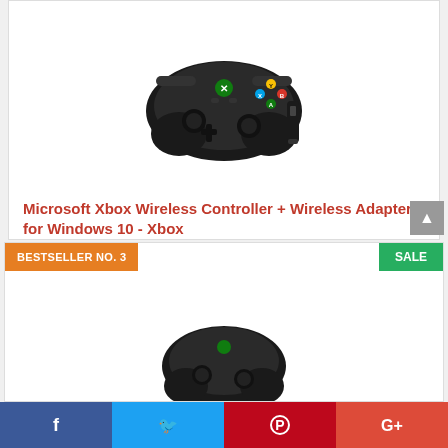[Figure (photo): Microsoft Xbox Wireless Controller (black) with USB wireless adapter dongle on white background]
Microsoft Xbox Wireless Controller + Wireless Adapter for Windows 10 - Xbox
$74.71
Buy on Amazon
BESTSELLER NO. 3
SALE
[Figure (photo): Black Xbox controller partially visible at bottom of page]